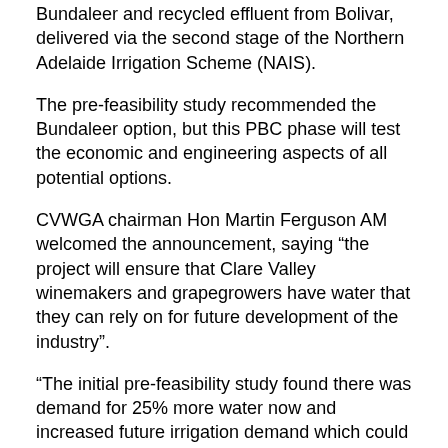Bundaleer and recycled effluent from Bolivar, delivered via the second stage of the Northern Adelaide Irrigation Scheme (NAIS).
The pre-feasibility study recommended the Bundaleer option, but this PBC phase will test the economic and engineering aspects of all potential options.
CVWGA chairman Hon Martin Ferguson AM welcomed the announcement, saying “the project will ensure that Clare Valley winemakers and grapegrowers have water that they can rely on for future development of the industry”.
“The initial pre-feasibility study found there was demand for 25% more water now and increased future irrigation demand which could support a further 1188 hectares of additional vineyard planting within five years,” he said.
“The preliminary business case will enable a detailed examination of options for long-term new water, technical engineering assessments and in-principle commitments from members.